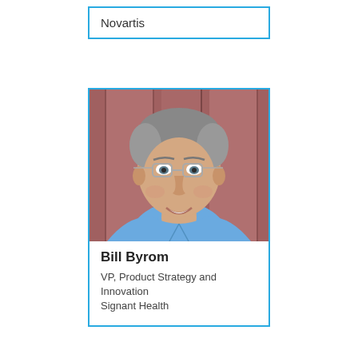Novartis
[Figure (photo): Headshot of Bill Byrom, a middle-aged man with grey hair and glasses, smiling, wearing a light blue shirt, against a reddish-brown paneled background.]
Bill Byrom
VP, Product Strategy and Innovation
Signant Health